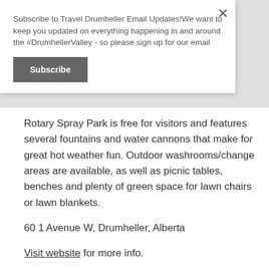Subscribe to Travel Drumheller Email Updates!We want to keep you updated on everything happening in and around the #DrumhellerValley - so please sign up for our email
Subscribe
Rotary Spray Park is free for visitors and features several fountains and water cannons that make for great hot weather fun. Outdoor washrooms/change areas are available, as well as picnic tables, benches and plenty of green space for lawn chairs or lawn blankets.
60 1 Avenue W, Drumheller, Alberta
Visit website for more info.